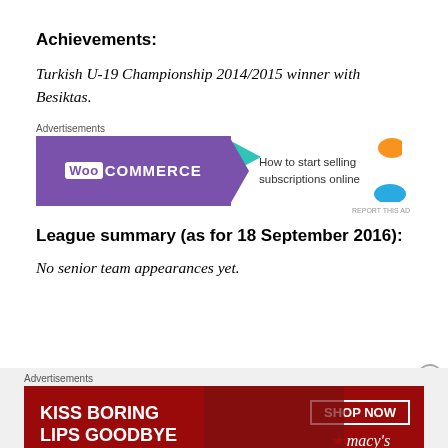Achievements:
Turkish U-19 Championship 2014/2015 winner with Besiktas.
[Figure (other): WooCommerce advertisement banner: 'How to start selling subscriptions online']
League summary (as for 18 September 2016):
No senior team appearances yet.
[Figure (other): Macy's advertisement banner: 'KISS BORING LIPS GOODBYE' with SHOP NOW button]